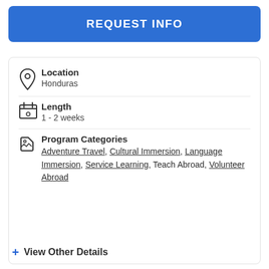REQUEST INFO
Location
Honduras
Length
1 - 2 weeks
Program Categories
Adventure Travel, Cultural Immersion, Language Immersion, Service Learning, Teach Abroad, Volunteer Abroad
+ View Other Details